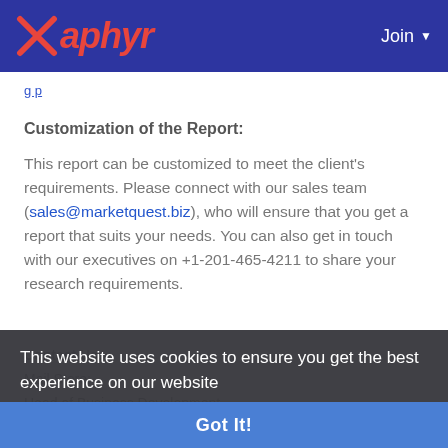Xaphyr | Join
(partial top link text)
Customization of the Report:
This report can be customized to meet the client's requirements. Please connect with our sales team (sales@marketquest.biz), who will ensure that you get a report that suits your needs. You can also get in touch with our executives on +1-201-465-4211 to share your research requirements.
Contact Us:
Mail Store:
Head of Business Development
Phone: +1-201-465-4211
Email: sales@marketquest.biz
Web: www.marketquest.biz
This website uses cookies to ensure you get the best experience on our website
Learn More
Got It!